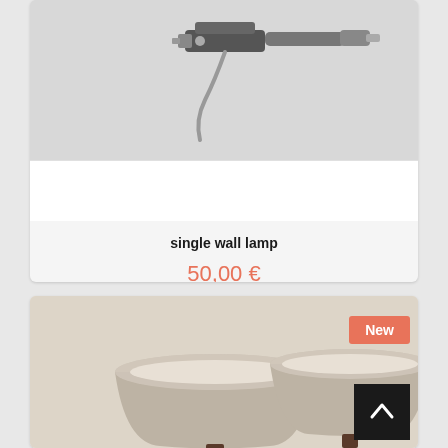[Figure (photo): Photo of a single wall lamp with a metal clamp mount and gray cable, shown on a light gray background]
single wall lamp
50,00 €
[Figure (photo): Photo of two matching table lamps with taupe/beige fabric shades and dark wood bases, shown on a light background. A 'New' badge appears in the top-right corner and a back-to-top arrow button is in the lower-right.]